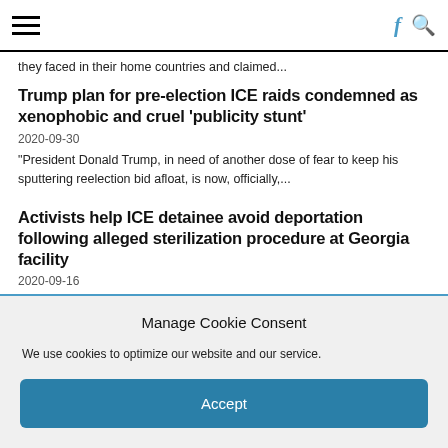☰  f Q
they faced in their home countries and claimed...
Trump plan for pre-election ICE raids condemned as xenophobic and cruel 'publicity stunt'
2020-09-30
"President Donald Trump, in need of another dose of fear to keep his sputtering reelection bid afloat, is now, officially,...
Activists help ICE detainee avoid deportation following alleged sterilization procedure at Georgia facility
2020-09-16
Pauline Binam, a Cameroonian who has lived in the U.S. since the age of two, was detained at an ICE...
Manage Cookie Consent
We use cookies to optimize our website and our service.
Accept